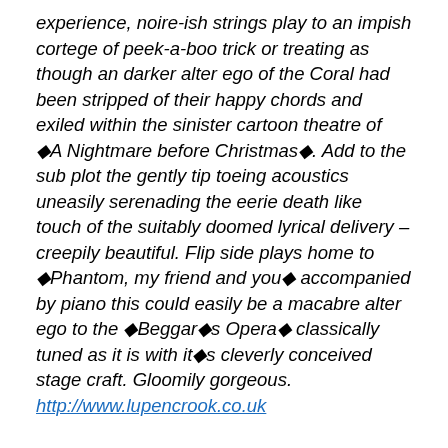experience, noire-ish strings play to an impish cortege of peek-a-boo trick or treating as though an darker alter ego of the Coral had been stripped of their happy chords and exiled within the sinister cartoon theatre of «A Nightmare before Christmas». Add to the sub plot the gently tip toeing acoustics uneasily serenading the eerie death like touch of the suitably doomed lyrical delivery – creepily beautiful. Flip side plays home to «Phantom, my friend and you» accompanied by piano this could easily be a macabre alter ego to the «Beggar«s Opera» classically tuned as it is with it«s cleverly conceived stage craft. Gloomily gorgeous. http://www.lupencrook.co.uk
Mushi Mushi «Chicken» EP (Distraction). The first of several releases from the Distraction label that you«ll at